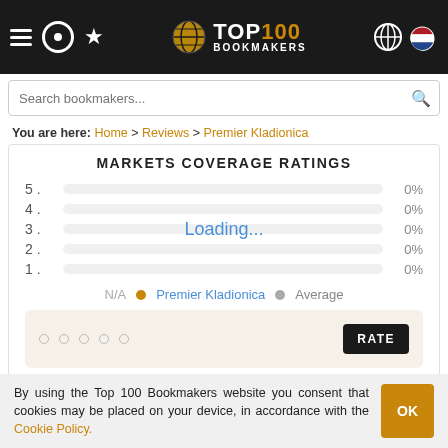[Figure (screenshot): Top 100 Bookmakers website header with navigation icons, logo, search bar]
You are here: Home > Reviews > Premier Kladionica
MARKETS COVERAGE RATINGS
[Figure (bar-chart): Markets Coverage Ratings]
N/A  Premier Kladionica  Average
[Figure (other): Rate section with dots and RATE button]
By using the Top 100 Bookmakers website you consent that cookies may be placed on your device, in accordance with the Cookie Policy.